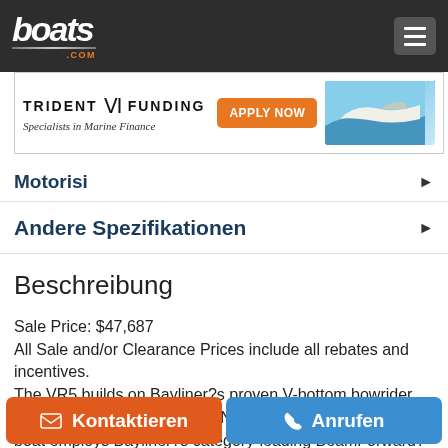boats.com
[Figure (screenshot): Trident Funding advertisement banner with 'APPLY NOW' button and boat image]
Motorisi
Andere Spezifikationen
Beschreibung
Sale Price: $47,687
All Sale and/or Clearance Prices include all rebates and incentives.
The VR5 builds on Bayliner?s proven V-bottom bowrider heritage, while adding form AND function. Forward, the boat employs Bayliner?s category-leading BeamForward? design, which carries the full 8 feet of beam further forward in the
Kontaktieren | Anrufen